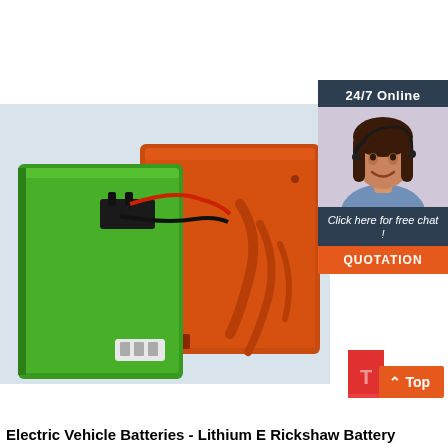[Figure (photo): Two electric vehicle batteries - one green and one orange/red - on a light blue-grey background. The green battery has black wiring connectors. The orange battery has decorative swirl patterns.]
[Figure (other): Customer support chat widget showing a woman with a headset smiling, with text '24/7 Online', 'Click here for free chat!', and an orange QUOTATION button.]
[Figure (other): Orange 'Top' scroll-to-top button with an upward caret arrow icon, and a red corner badge.]
Electric Vehicle Batteries - Lithium E Rickshaw Battery